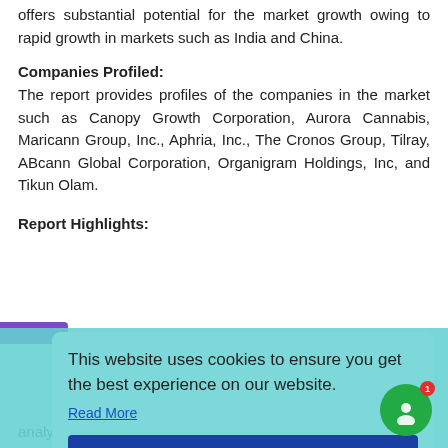offers substantial potential for the market growth owing to rapid growth in markets such as India and China.
Companies Profiled:
The report provides profiles of the companies in the market such as Canopy Growth Corporation, Aurora Cannabis, Maricann Group, Inc., Aphria, Inc., The Cronos Group, Tilray, ABcann Global Corporation, Organigram Holdings, Inc, and Tikun Olam.
Report Highlights:
...orecasts, ...ion, this ...ing and ...e-Growth ...into the ...ers can ...et using ...nd R... analysis of legal marijuana market. Moreover, the study highlights
[Figure (screenshot): Cookie consent overlay with teal/cyan background. Text reads 'This website uses cookies to ensure you get the best experience on our website.' with a 'Read More' link and a dark blue 'Got it!' button. A purple bar is visible behind the overlay at the Report Highlights section.]